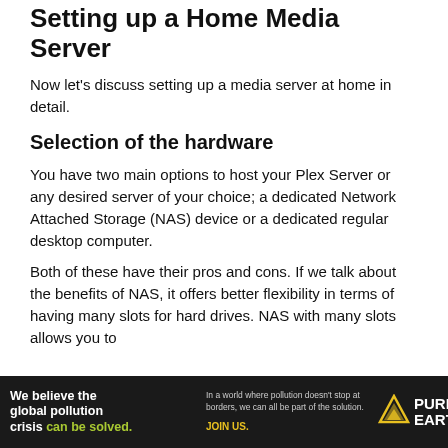Setting up a Home Media Server
Now let's discuss setting up a media server at home in detail.
Selection of the hardware
You have two main options to host your Plex Server or any desired server of your choice; a dedicated Network Attached Storage (NAS) device or a dedicated regular desktop computer.
Both of these have their pros and cons. If we talk about the benefits of NAS, it offers better flexibility in terms of having many slots for hard drives. NAS with many slots allows you to
[Figure (infographic): Advertisement banner for Pure Earth. Dark background with text 'We believe the global pollution crisis can be solved.' in white and green, alongside 'In a world where pollution doesn't stop at borders, we can all be part of the solution. JOIN US.' and the Pure Earth logo (diamond/triangle shape in gold/yellow).]